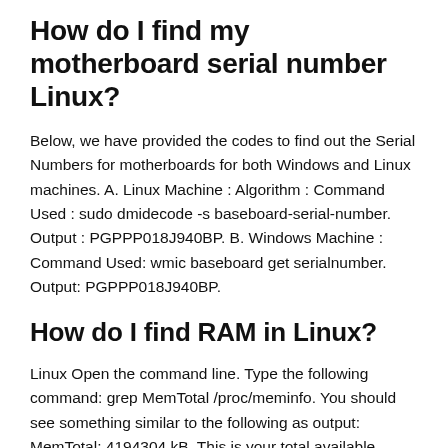How do I find my motherboard serial number Linux?
Below, we have provided the codes to find out the Serial Numbers for motherboards for both Windows and Linux machines. A. Linux Machine : Algorithm : Command Used : sudo dmidecode -s baseboard-serial-number. Output : PGPPP018J940BP. B. Windows Machine : Command Used: wmic baseboard get serialnumber. Output: PGPPP018J940BP.
How do I find RAM in Linux?
Linux Open the command line. Type the following command: grep MemTotal /proc/meminfo. You should see something similar to the following as output: MemTotal: 4194304 kB. This is your total available memory.